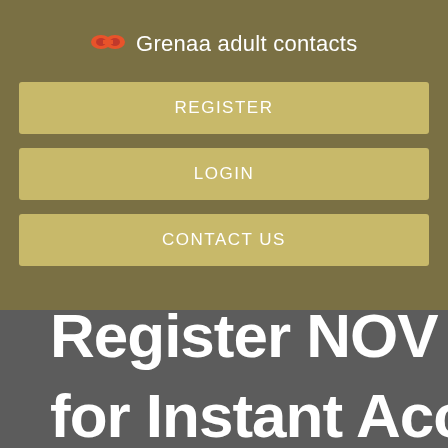Grenaa adult contacts
REGISTER
LOGIN
CONTACT US
Register NOW for Instant Acce